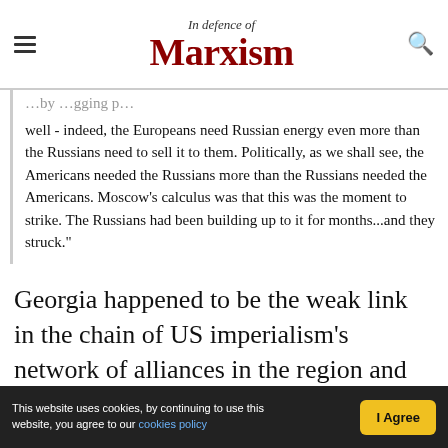In Defence of Marxism
well - indeed, the Europeans need Russian energy even more than the Russians need to sell it to them. Politically, as we shall see, the Americans needed the Russians more than the Russians needed the Americans. Moscow's calculus was that this was the moment to strike. The Russians had been building up to it for months...and they struck."
Georgia happened to be the weak link in the chain of US imperialism's network of alliances in the region and the best way for Russia to show the world (and above all, to the neighbouring countries) that US imperialism was not able to deliver
This website uses cookies, by continuing to use this website, you agree to our cookies policy  |  I Agree